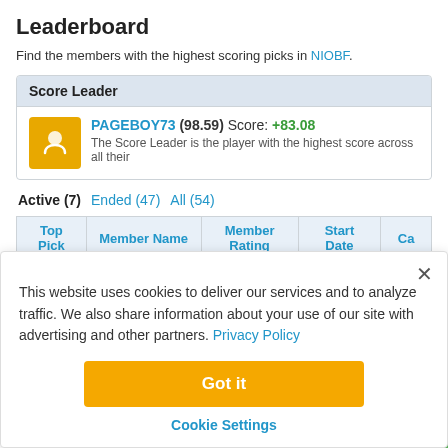Leaderboard
Find the members with the highest scoring picks in NIOBF.
Score Leader
PAGEBOY73 (98.59) Score: +83.08
The Score Leader is the player with the highest score across all their
Active (7)   Ended (47)   All (54)
| Top Pick | Member Name | Member Rating | Start Date | Ca |
| --- | --- | --- | --- | --- |
This website uses cookies to deliver our services and to analyze traffic. We also share information about your use of our site with advertising and other partners. Privacy Policy
Got it
Cookie Settings